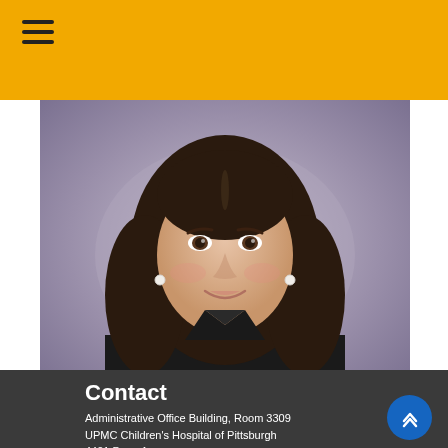[Figure (photo): Professional headshot of a woman with long dark hair, wearing a dark jacket, smiling, with a gray/purple blurred background.]
Contact
Administrative Office Building, Room 3309
UPMC Children's Hospital of Pittsburgh
4401 Penn Avenue
Pittsburgh, PA 15224-1334